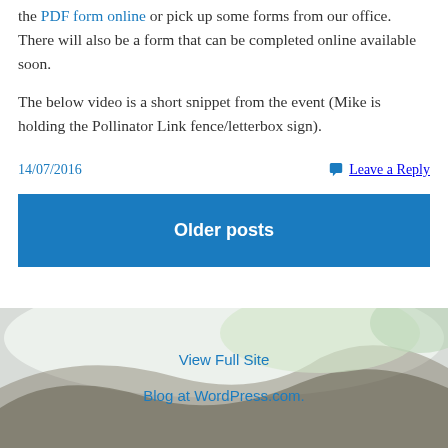the PDF form online or pick up some forms from our office. There will also be a form that can be completed online available soon.
The below video is a short snippet from the event (Mike is holding the Pollinator Link fence/letterbox sign).
14/07/2016
Leave a Reply
Older posts
View Full Site
Blog at WordPress.com.